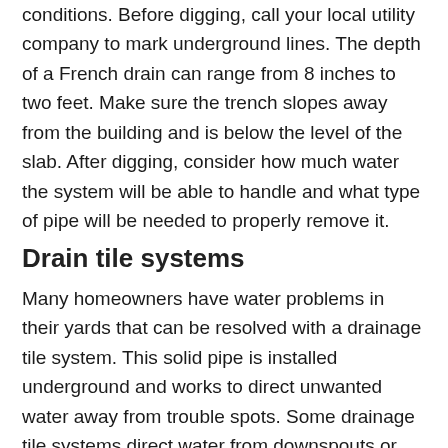conditions. Before digging, call your local utility company to mark underground lines. The depth of a French drain can range from 8 inches to two feet. Make sure the trench slopes away from the building and is below the level of the slab. After digging, consider how much water the system will be able to handle and what type of pipe will be needed to properly remove it.
Drain tile systems
Many homeowners have water problems in their yards that can be resolved with a drainage tile system. This solid pipe is installed underground and works to direct unwanted water away from trouble spots. Some drainage tile systems direct water from downspouts or sump pumps to catch basins. While the drain tile channels water away from a property, others are